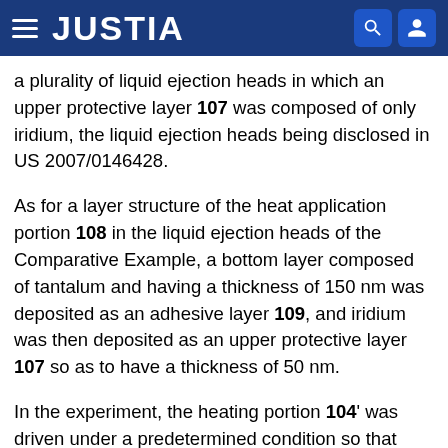JUSTIA
a plurality of liquid ejection heads in which an upper protective layer 107 was composed of only iridium, the liquid ejection heads being disclosed in US 2007/0146428.
As for a layer structure of the heat application portion 108 in the liquid ejection heads of the Comparative Example, a bottom layer composed of tantalum and having a thickness of 150 nm was deposited as an adhesive layer 109, and iridium was then deposited as an upper protective layer 107 so as to have a thickness of 50 nm.
In the experiment, the heating portion 104' was driven under a predetermined condition so that kogation was deposited on the upper protective layer 107a corresponding to the heat application portion 108, and a kogation removing process was then conducted by